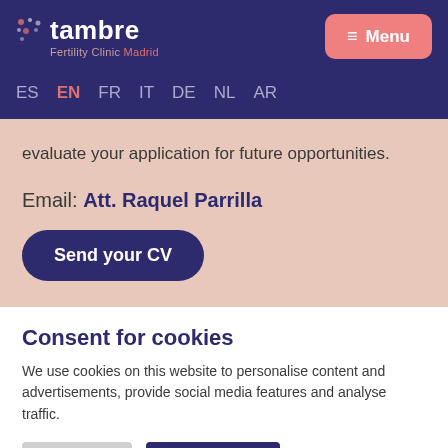tambre Fertility Clinic Madrid | Menu
ES EN FR IT DE NL AR
evaluate your application for future opportunities.
Email: Att. Raquel Parrilla
Send your CV
Consent for cookies
We use cookies on this website to personalise content and advertisements, provide social media features and analyse traffic.
Settings | Accept All